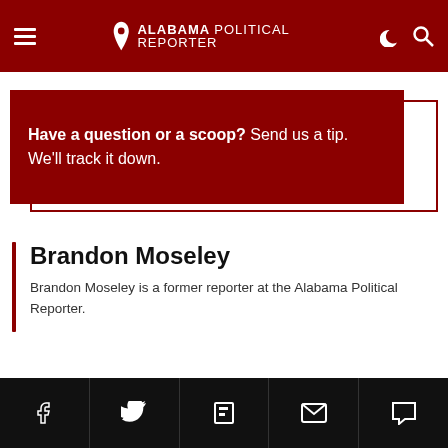Alabama Political Reporter
Have a question or a scoop? Send us a tip. We'll track it down.
Brandon Moseley
Brandon Moseley is a former reporter at the Alabama Political Reporter.
Social media icons: Facebook, Twitter, Flipboard, Email, Comments